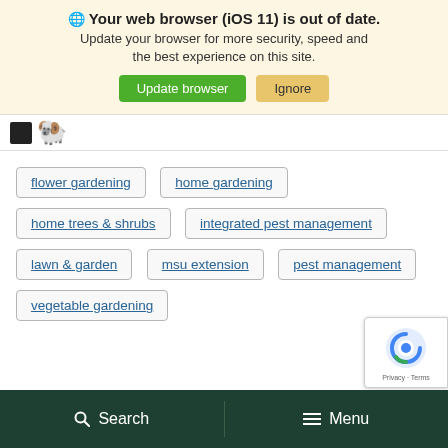Your web browser (iOS 11) is out of date. Update your browser for more security, speed and the best experience on this site. Update browser  Ignore
[Figure (screenshot): Partial website logo area showing a dark square icon and a navigation arrow]
flower gardening
home gardening
home trees & shrubs
integrated pest management
lawn & garden
msu extension
pest management
vegetable gardening
[Figure (logo): Google reCAPTCHA badge with Privacy and Terms links]
Search   Menu